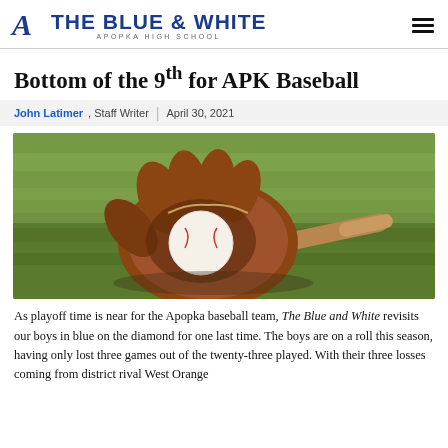THE BLUE & WHITE — APOPKA HIGH SCHOOL
Bottom of the 9th for APK Baseball
John Latimer, Staff Writer | April 30, 2021
[Figure (photo): Baseball glove holding a baseball with a wooden bat on green grass]
As playoff time is near for the Apopka baseball team, The Blue and White revisits our boys in blue on the diamond for one last time. The boys are on a roll this season, having only lost three games out of the twenty-three played. With their three losses coming from district rival West Orange